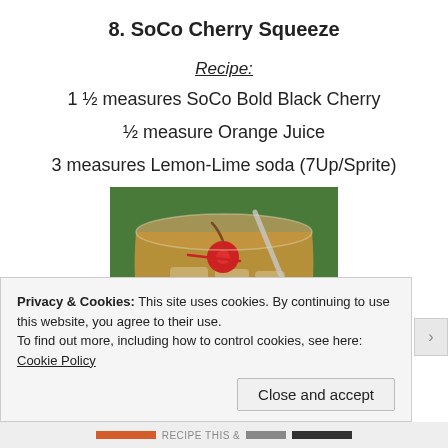8. SoCo Cherry Squeeze
Recipe:
1 ½ measures SoCo Bold Black Cherry
½ measure Orange Juice
3 measures Lemon-Lime soda (7Up/Sprite)
[Figure (photo): A glass of cherry squeeze cocktail with ice, a red cherry garnish, and a straw, set against a green background]
Privacy & Cookies: This site uses cookies. By continuing to use this website, you agree to their use. To find out more, including how to control cookies, see here: Cookie Policy
Close and accept